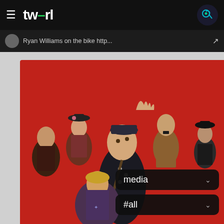tw-rl
Ryan Williams on the bike http...
[Figure (photo): Movie poster on a red background showing multiple characters including a young boy in dark uniform, a girl in a hat, a Hitler-lookalike character, and other figures — appears to be from the film Jojo Rabbit]
media ˅
#all ˅